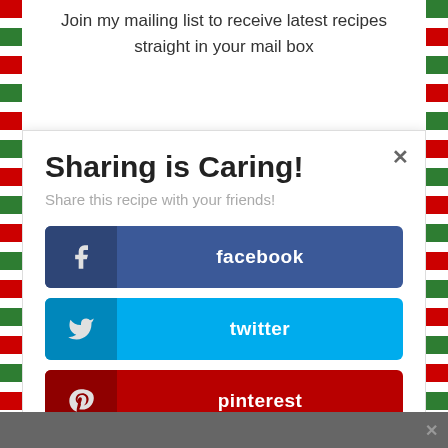Join my mailing list to receive latest recipes straight in your mail box
Sharing is Caring!
Share this recipe with your friends!
facebook
twitter
pinterest
Tumblr
reddit
Evernote